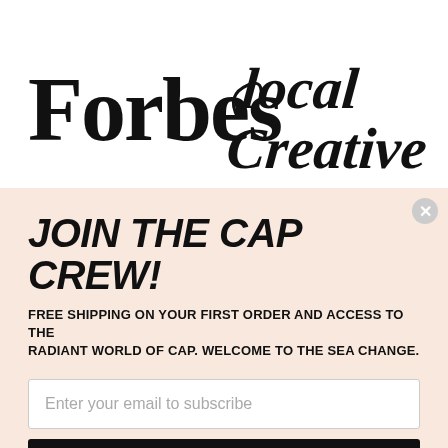[Figure (logo): Forbes logo in bold serif font and Local Creative logo in decorative cursive script, side by side on white background]
JOIN THE CAP CREW!
FREE SHIPPING ON YOUR FIRST ORDER AND ACCESS TO THE RADIANT WORLD OF CAP. WELCOME TO THE SEA CHANGE.
Enter your email to subscribe
SUBSCRIBE